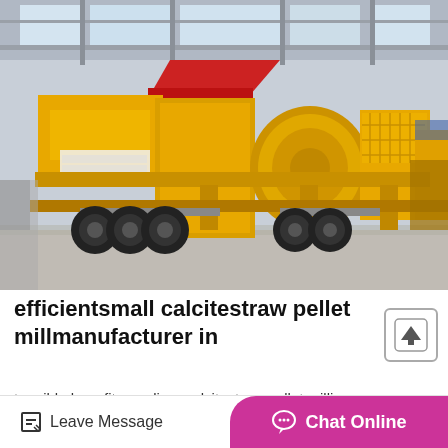[Figure (photo): Large yellow mobile crushing/milling machine on a trailer with black wheels, photographed in an industrial warehouse with steel frame structure and skylights. The machine is heavy equipment painted entirely in bright yellow with red accent on a conveyor/feeder component.]
efficientsmall calcitestraw pellet millmanufacturer in
tangible benefits medium calcitestraw pellet millin. tangible benefits mediumrock...